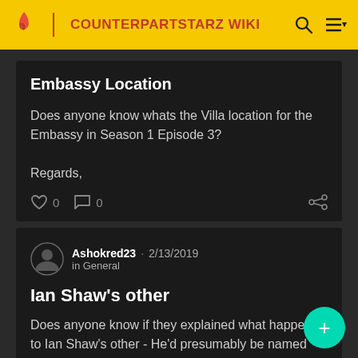COUNTERPARTSTARZ WIKI
Embassy Location
Does anyone know whats the Villa location for the Embassy in Season 1 Episode 3?

Regards,
0  0
Ashokred23 · 2/13/2019
in General
Ian Shaw's other
Does anyone know if they explained what happened to Ian Shaw's other - He'd presumably be named Wesley also since that was Ian's real name, and he